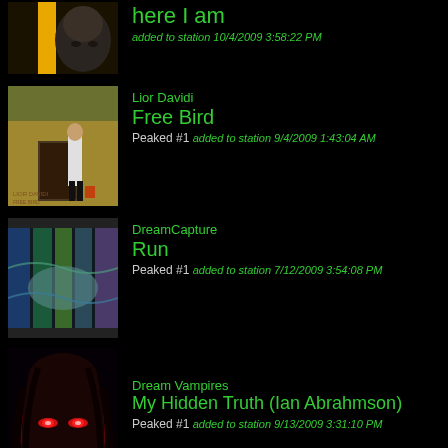[Figure (photo): Partial view of a man's face on dark background, top of page]
here I am
added to station 10/4/2009 3:58:22 PM
[Figure (photo): Album cover showing a person standing outside a building]
Lior Davidi
Free Bird
Peaked #1  added to station 9/4/2009 1:43:04 AM
[Figure (photo): Colorful mural or artwork with blues and greens behind bars]
DreamCapture
Run
Peaked #1  added to station 7/12/2009 3:54:08 PM
[Figure (photo): Dark image of a woman's face with red lighting, gothic style]
Dream Vampires
My Hidden Truth (Ian Abrahmson)
Peaked #1  added to station 9/13/2009 3:31:10 PM
[Figure (photo): Close-up of a human eye with pink/purple iris]
Guy Barnes
THE TIMES OF OUR LIVES